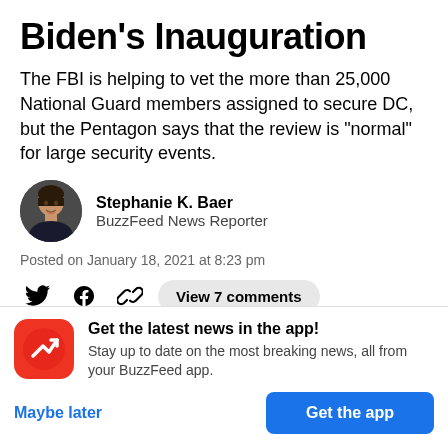Biden's Inauguration
The FBI is helping to vet the more than 25,000 National Guard members assigned to secure DC, but the Pentagon says that the review is "normal" for large security events.
Stephanie K. Baer
BuzzFeed News Reporter
Posted on January 18, 2021 at 8:23 pm
View 7 comments
Get the latest news in the app!
Stay up to date on the most breaking news, all from your BuzzFeed app.
Maybe later
Get the app